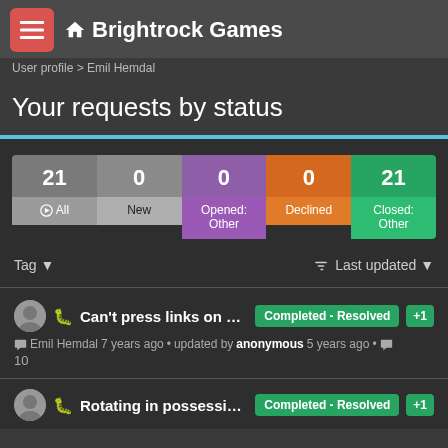Brightrock Games
User profile > Emil Hemdal
Your requests by status
| All | New | Opened: Other | Declined | Closed: Other |
| --- | --- | --- | --- | --- |
| 21 | 0 | 0 | 0 | 21 |
Tag ▼   Last updated ▼
Can't press links on st... Completed - Resolved +1 Emil Hemdal 7 years ago • updated by anonymous 5 years ago • 10
Rotating in possessio... Completed - Resolved +1